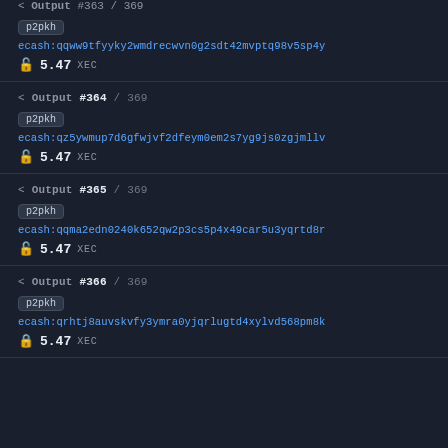< Output #363 / 369
p2pkh
ecash:qqww9tfyyky2wmdrecwvn0g2sdt42mvptq98v5sp4y
5.47 XEC
< Output #364 / 369
p2pkh
ecash:qz5ywmup7d6gfwjvf2dfeym0em2s7yg9js0zgjmllv
5.47 XEC
< Output #365 / 369
p2pkh
ecash:qqma2edn0240k652qw2p3cs5p4x49car5u3yqrtd8r
5.47 XEC
< Output #366 / 369
p2pkh
ecash:qrhtj8auvskvfy3ymra0yjqrlugtd4xylvd568pm8k
5.47 XEC